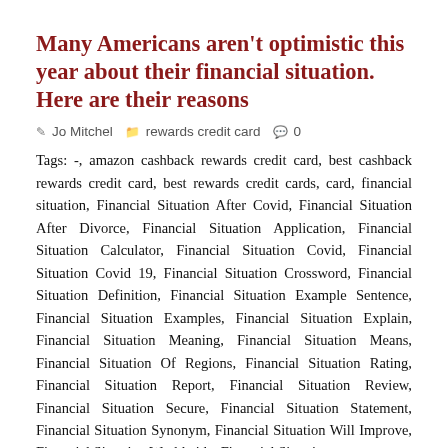Many Americans aren't optimistic this year about their financial situation. Here are their reasons
Jo Mitchel   rewards credit card   0
Tags: -, amazon cashback rewards credit card, best cashback rewards credit card, best rewards credit cards, card, financial situation, Financial Situation After Covid, Financial Situation After Divorce, Financial Situation Application, Financial Situation Calculator, Financial Situation Covid, Financial Situation Covid 19, Financial Situation Crossword, Financial Situation Definition, Financial Situation Example Sentence, Financial Situation Examples, Financial Situation Explain, Financial Situation Meaning, Financial Situation Means, Financial Situation Of Regions, Financial Situation Rating, Financial Situation Report, Financial Situation Review, Financial Situation Secure, Financial Situation Statement, Financial Situation Synonym, Financial Situation Will Improve, Financial Situation Worldwide, Financial Situations